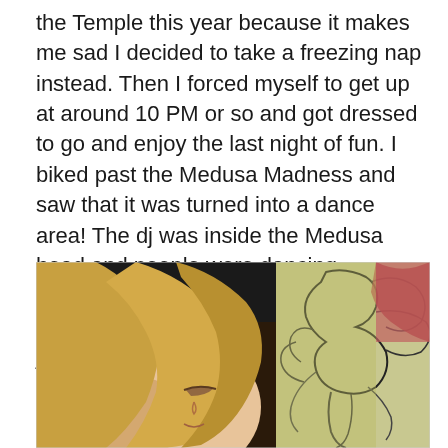the Temple this year because it makes me sad I decided to take a freezing nap instead. Then I forced myself to get up at around 10 PM or so and got dressed to go and enjoy the last night of fun. I biked past the Medusa Madness and saw that it was turned into a dance area! The dj was inside the Medusa head and people were dancing underneath the snake heads that were spewing out flames of fire. Of course I joined in! It was great. Amazing energy. After about two hours or so I went to Center Camp to warm up with a hot chai before continuing my night.
[Figure (photo): A person with long blonde hair looking down at an artwork or book featuring line drawings of a figure with flowing hair/flames, in green and pink tones.]